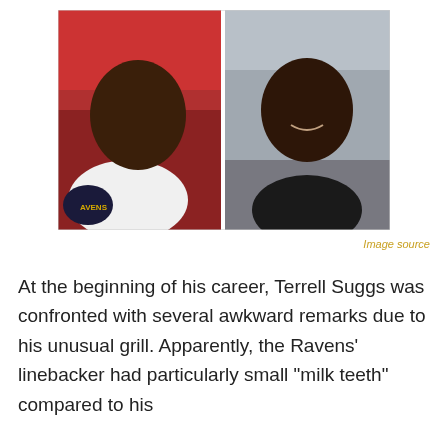[Figure (photo): Two side-by-side photos of Terrell Suggs: left photo shows him smiling in a Baltimore Ravens white jersey, right photo shows him smiling in casual attire]
Image source
At the beginning of his career, Terrell Suggs was confronted with several awkward remarks due to his unusual grill. Apparently, the Ravens' linebacker had particularly small "milk teeth" compared to his